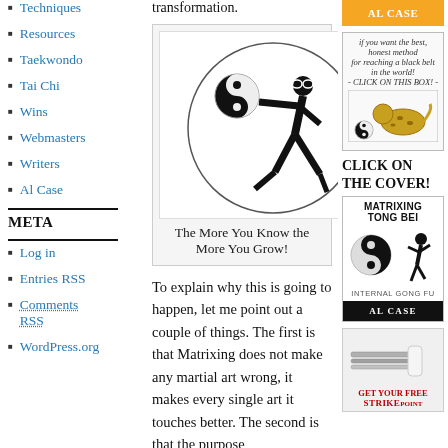Techniques
Resources
Taekwondo
Tai Chi
Wins
Webmasters
Writers
Al Case
META
Log in
Entries RSS
Comments RSS
WordPress.org
transformation.
[Figure (illustration): Martial artist in black gi holding a yin-yang ball inside a circle]
The More You Know the More You Grow!
To explain why this is going to happen, let me point out a couple of things. The first is that Matrixing does not make any martial art wrong, it makes every single art it touches better. The second is that the purpose
[Figure (other): Orange button with AL CASE text]
[Figure (other): Book advertisement - click on this box for black belt method with leopard image]
CLICK ON THE COVER!
[Figure (other): Matrixing Tong Bei - Internal Gong Fu book cover by Al Case]
[Figure (photo): Strike - get your free advertisement image with metal rods]